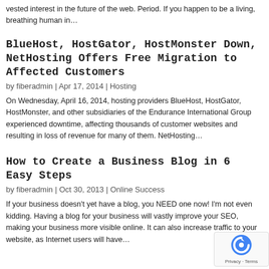vested interest in the future of the web. Period. If you happen to be a living, breathing human in…
BlueHost, HostGator, HostMonster Down, NetHosting Offers Free Migration to Affected Customers
by fiberadmin | Apr 17, 2014 | Hosting
On Wednesday, April 16, 2014, hosting providers BlueHost, HostGator, HostMonster, and other subsidiaries of the Endurance International Group experienced downtime, affecting thousands of customer websites and resulting in loss of revenue for many of them. NetHosting…
How to Create a Business Blog in 6 Easy Steps
by fiberadmin | Oct 30, 2013 | Online Success
If your business doesn't yet have a blog, you NEED one now! I'm not even kidding. Having a blog for your business will vastly improve your SEO, making your business more visible online. It can also increase traffic to your website, as Internet users will have…